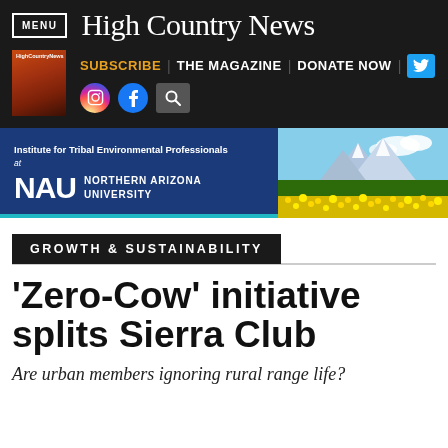High Country News
[Figure (screenshot): Website navigation bar with MENU button, High Country News logo, subscribe/magazine/donate links, social media icons, and magazine thumbnail]
[Figure (infographic): Advertisement banner for Institute for Tribal Environmental Professionals at NAU Northern Arizona University with mountain landscape photo]
GROWTH & SUSTAINABILITY
'Zero-Cow' initiative splits Sierra Club
Are urban members ignoring rural range life?